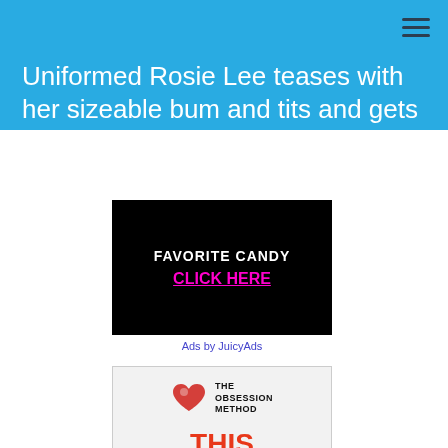Uniformed Rosie Lee teases with her sizeable bum and tits and gets naked
[Figure (other): Advertisement banner with black background showing 'FAVORITE CANDY' and 'CLICK HERE' in pink text]
Ads by JuicyAds
[Figure (other): Advertisement for The Obsession Method showing logo with heart icon and text 'THIS PSYCHOLOGICAL LOOPHOLE MAKES']